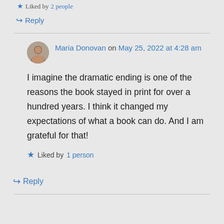Liked by 2 people
Reply
Maria Donovan on May 25, 2022 at 4:28 am
I imagine the dramatic ending is one of the reasons the book stayed in print for over a hundred years. I think it changed my expectations of what a book can do. And I am grateful for that!
Liked by 1 person
Reply